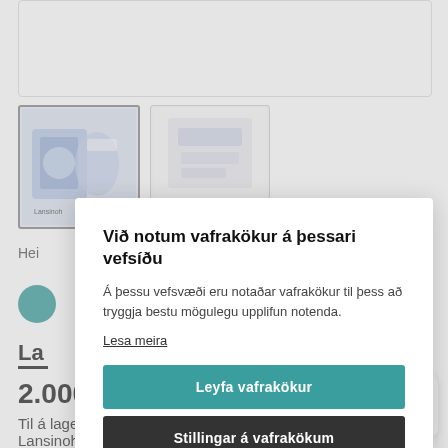[Figure (screenshot): Product page background with thumbnail images of Lansinoh breast milk storage bags, partial product name 'La', teal price badge, price '2.000', stock info 'Til á lager', and product description 'Lansinoh frystipokar 50stk']
Við notum vafrakökur á þessari vefsíðu
Á þessu vefsvæði eru notaðar vafrakökur til þess að tryggja bestu mögulegu upplifun notenda.
Lesa meira
Leyfa vafrakökur
Stillingar á vafrakökum